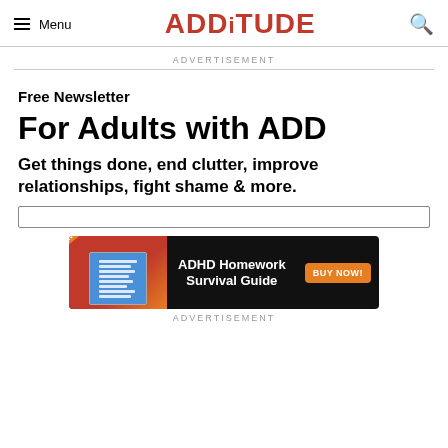Menu | ADDitude
ADVERTISEMENT
Free Newsletter
For Adults with ADD
Get things done, end clutter, improve relationships, fight shame & more.
[Figure (infographic): ADHD Homework Survival Guide advertisement banner with New eBook label, book cover image, title text, and orange BUY NOW button on dark background]
ADVERTISEMENT